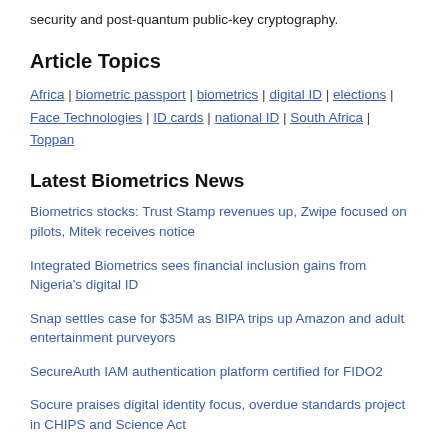security and post-quantum public-key cryptography.
Article Topics
Africa | biometric passport | biometrics | digital ID | elections | Face Technologies | ID cards | national ID | South Africa | Toppan
Latest Biometrics News
Biometrics stocks: Trust Stamp revenues up, Zwipe focused on pilots, Mitek receives notice
Integrated Biometrics sees financial inclusion gains from Nigeria's digital ID
Snap settles case for $35M as BIPA trips up Amazon and adult entertainment purveyors
SecureAuth IAM authentication platform certified for FIDO2
Socure praises digital identity focus, overdue standards project in CHIPS and Science Act
Biometrics work too well with face masks for criminals to hide; or for anonymity